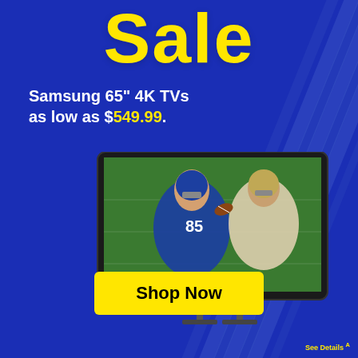Sale
Samsung 65" 4K TVs as low as $549.99.
[Figure (photo): Samsung 65-inch 4K TV displaying a football game — two NFL players in action on the field. The TV has a slim bezel and stand.]
Shop Now
See Details A